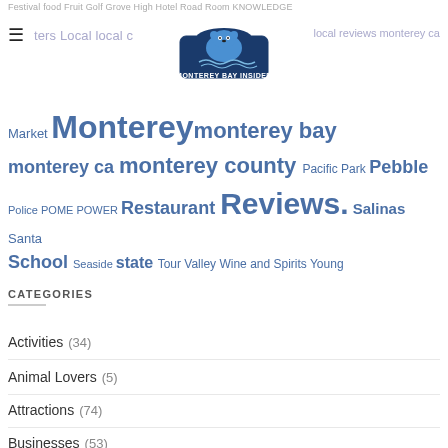Festival food Fruit Golf Grove High Hotel Road Room KNOWLEDGE ters Local local c... local reviews monterey ca
[Figure (logo): Monterey Bay Insider logo with otter mascot]
Market Monterey monterey bay monterey ca monterey county Pacific Park Pebble Police POME POWER Restaurant Reviews. Salinas Santa School Seaside state Tour Valley Wine and Spirits Young
CATEGORIES
Activities (34)
Animal Lovers (5)
Attractions (74)
Businesses (53)